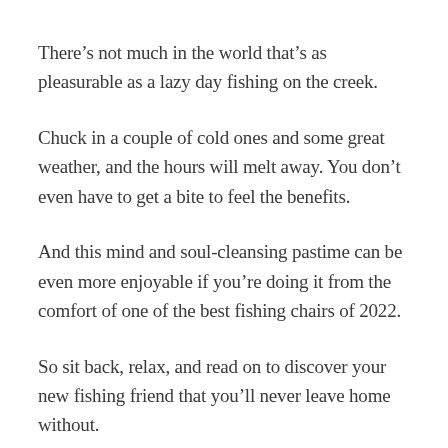There's not much in the world that's as pleasurable as a lazy day fishing on the creek.
Chuck in a couple of cold ones and some great weather, and the hours will melt away. You don't even have to get a bite to feel the benefits.
And this mind and soul-cleansing pastime can be even more enjoyable if you're doing it from the comfort of one of the best fishing chairs of 2022.
So sit back, relax, and read on to discover your new fishing friend that you'll never leave home without.
Life is good.